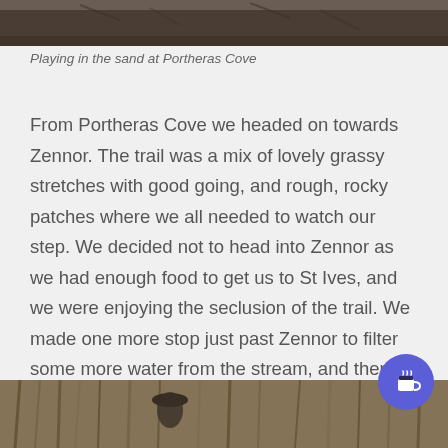[Figure (photo): Top portion of a photo showing footprints or marks in sand at Portheras Cove, dark sandy/rocky texture]
Playing in the sand at Portheras Cove
From Portheras Cove we headed on towards Zennor. The trail was a mix of lovely grassy stretches with good going, and rough, rocky patches where we all needed to watch our step. We decided not to head into Zennor as we had enough food to get us to St Ives, and we were enjoying the seclusion of the trail. We made one more stop just past Zennor to filter some more water from the stream, and then were on the look-out for a camping spot.
[Figure (photo): Bottom portion showing a person in a hat surrounded by tall brown grasses or ferns]